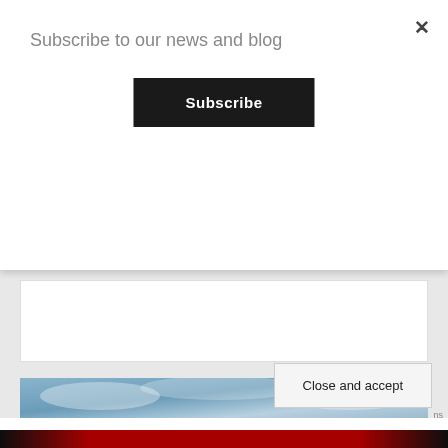×
Subscribe to our news and blog
Subscribe
[Figure (photo): Blue cloudy sky strip image]
Privacy & Cookies: This site uses cookies. By continuing to use this website, you agree to their use.
To find out more, including how to control cookies, see here:
Cookie Policy
Close and accept
[Figure (photo): Red racing car image strip at bottom]